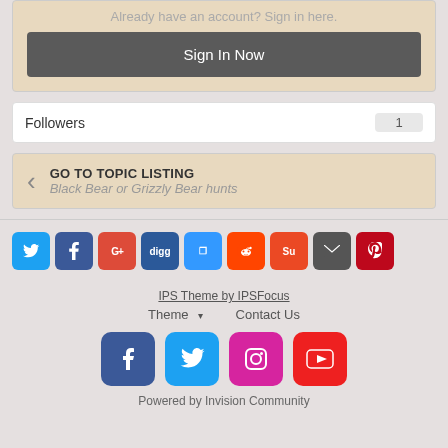Already have an account? Sign in here.
Sign In Now
Followers 1
GO TO TOPIC LISTING
Black Bear or Grizzly Bear hunts
[Figure (infographic): Row of social sharing icons: Twitter, Facebook, Google+, Digg, Delicious, Reddit, StumbleUpon, Email, Pinterest]
IPS Theme by IPSFocus
Theme  Contact Us
[Figure (infographic): Large social media icons: Facebook, Twitter, Instagram, YouTube]
Powered by Invision Community